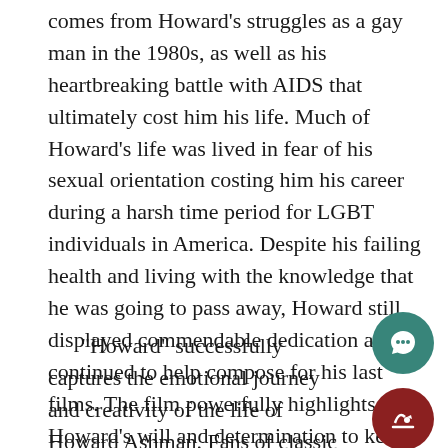comes from Howard's struggles as a gay man in the 1980s, as well as his heartbreaking battle with AIDS that ultimately cost him his life. Much of Howard's life was lived in fear of his sexual orientation costing him his career during a harsh time period for LGBT individuals in America. Despite his failing health and living with the knowledge that he was going to pass away, Howard still displayed commendable dedication as he continued to help compose for his last films. The film powerfully highlights Howard's will and determination to keep going despite his last days being in front of him.
“Howard” successfully captures the emotional journey and creativity of the life of Howard Ashman. Fans of classic Disney films will likely have a newfound appreciation for the movies they love after viewing Disney+'s talented handling of